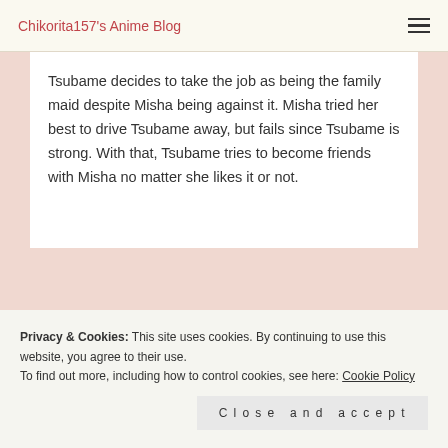Chikorita157's Anime Blog
Tsubame decides to take the job as being the family maid despite Misha being against it. Misha tried her best to drive Tsubame away, but fails since Tsubame is strong. With that, Tsubame tries to become friends with Misha no matter she likes it or not.
Privacy & Cookies: This site uses cookies. By continuing to use this website, you agree to their use.
To find out more, including how to control cookies, see here: Cookie Policy
Close and accept